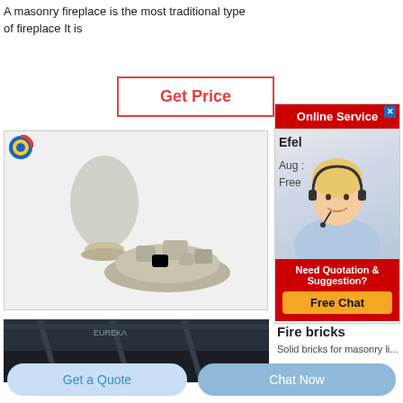A masonry fireplace is the most traditional type of fireplace It is
[Figure (other): Button with red border labeled 'Get Price' in red text]
[Figure (other): Online Service advertisement banner with red header and customer service representative photo, 'Need Quotation & Suggestion? Free Chat' button]
[Figure (photo): Photo of grey mineral powder and chunks on white background with browser icon in top left]
Efel
Aug :
Free
[Figure (photo): Dark industrial or warehouse interior photo]
Fire bricks
[Figure (other): Button: Get a Quote]
[Figure (other): Button: Chat Now]